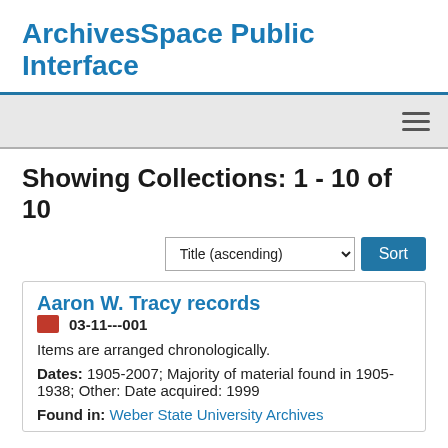ArchivesSpace Public Interface
Showing Collections: 1 - 10 of 10
Title (ascending) Sort
Aaron W. Tracy records
03-11---001
Items are arranged chronologically.
Dates: 1905-2007; Majority of material found in 1905-1938; Other: Date acquired: 1999
Found in: Weber State University Archives